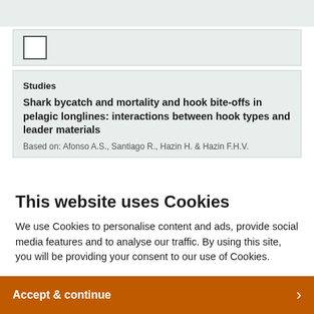[Figure (other): Checkbox element in a light green/grey card area]
Studies
Shark bycatch and mortality and hook bite-offs in pelagic longlines: interactions between hook types and leader materials
Based on: Afonso A.S., Santiago R., Hazin H. & Hazin F.H.V.
This website uses Cookies
We use Cookies to personalise content and ads, provide social media features and to analyse our traffic. By using this site, you will be providing your consent to our use of Cookies.
Accept & continue